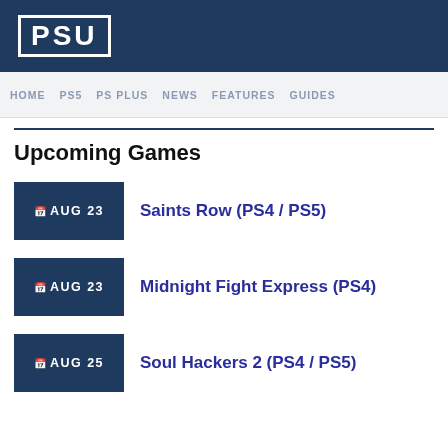PSU
HOME  PS5  PS PLUS  NEWS  FEATURES  GUIDES
Upcoming Games
AUG 23  Saints Row (PS4 / PS5)
AUG 23  Midnight Fight Express (PS4)
AUG 25  Soul Hackers 2 (PS4 / PS5)